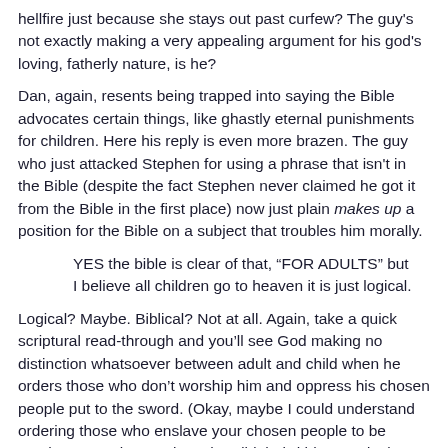hellfire just because she stays out past curfew? The guy's not exactly making a very appealing argument for his god's loving, fatherly nature, is he?
Dan, again, resents being trapped into saying the Bible advocates certain things, like ghastly eternal punishments for children. Here his reply is even more brazen. The guy who just attacked Stephen for using a phrase that isn't in the Bible (despite the fact Stephen never claimed he got it from the Bible in the first place) now just plain makes up a position for the Bible on a subject that troubles him morally.
YES the bible is clear of that, “FOR ADULTS” but I believe all children go to heaven it is just logical.
Logical? Maybe. Biblical? Not at all. Again, take a quick scriptural read-through and you'll see God making no distinction whatsoever between adult and child when he orders those who don't worship him and oppress his chosen people put to the sword. (Okay, maybe I could understand ordering those who enslave your chosen people to be taught a nasty lesson, but what did their kids ever do?) Try Exodus 11:4-6, 1 Samuel 15:3, Hosea 13:16; and Psalm 137:8-9 for